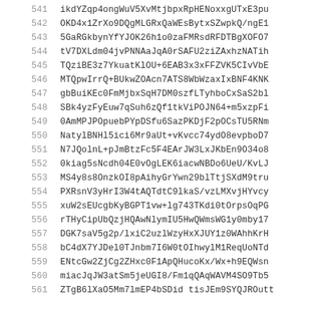541  ikdYZqp4ongWuV5XvMtjbpxRpHENoxxgUTxE3pu
542  OKD4x1ZrXo9DQgMLGRxQaWEsBytxSZwpkQ/ngE1
543  5GaRGkbynYfYJOK26h1o0zaFMRsdRFDTBgXOFO7
544  tV7DXLdm04jvPNNAaJqA0rSAFU2ziZAxhzNATih
545  TQziBE3z7YkuatKlOU+6EAB3x3xFFZVK5CIvVbE
546  MTQpwIrrQ+BUkwZOAcn7ATS8WbWzaxIxBNF4KNK
547  gbBuiKEc0FmMjbxSqH7DM0szfLTyhboCxSaS2bl
548  SBk4yzFyEuw7qSuh6zQf1tkViPOJN64+m5xzpFi
549  0AmMPJPOpuebPYpDSfu6SazPKDjF2pOCsTU5RNm
550  NatylBNHl5ici6Mr9aUt+vKvcc74ydO8evpboD7
551  N7JQolnL+pJmBtzFc5F4EArJW3LxJKbEn9O34o8
552  0kiag5sNcdh04E0vOgLEK6iacwNBDo6UeU/KvLJ
553  MS4y8s8OnzkOI8pAihyGrYwn29blTtjSXdM9tru
554  PXRsnV3yHrI3W4tAQTdtC9lkaS/vzLMXvjHYvcy
555  xuW2sEUcgbKyBGPT1vw+lg743TKdi0tOrpsOqPG
556  rTHyCipUbQzjHQAwNlymIU5HwQWmsWG1y0mby17
557  DGK7saV5g2p/lxiC2uzlWzyHxXJUY1z0WAhhKrH
558  bC4dX7YJDel0TJnbm7I6W0tOIhwylM1ReqUoNTd
559  ENtcGw2ZjCg2ZHxc0F1ApQHucoKx/Wx+h9EQWsn
560  miacJqJW3atSm5jeUGI8/Fm1qQAqWAVM4SO9Tb5
561  ZTgB6lXaO5Mm7lmEP4bSDid tisJEm9SYQJROutt